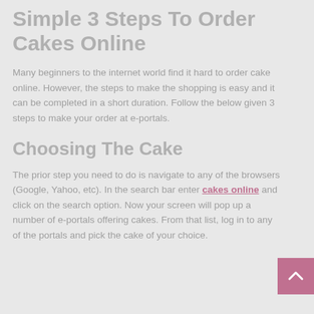Simple 3 Steps To Order Cakes Online
Many beginners to the internet world find it hard to order cake online. However, the steps to make the shopping is easy and it can be completed in a short duration. Follow the below given 3 steps to make your order at e-portals.
Choosing The Cake
The prior step you need to do is navigate to any of the browsers (Google, Yahoo, etc). In the search bar enter cakes online and click on the search option. Now your screen will pop up a number of e-portals offering cakes. From that list, log in to any of the portals and pick the cake of your choice.